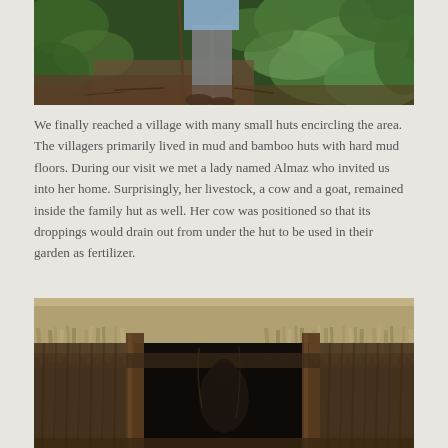[Figure (photo): A person standing in a lush green forest or jungle area, wearing grey pants and a blue shirt, holding a stick, surrounded by dense green foliage and trees.]
We finally reached a village with many small huts encircling the area. The villagers primarily lived in mud and bamboo huts with hard mud floors. During our visit we met a lady named Almaz who invited us into her home. Surprisingly, her livestock, a cow and a goat, remained inside the family hut as well. Her cow was positioned so that its droppings would drain out from under the hut to be used in their garden as fertilizer.
[Figure (photo): Close-up of the entrance to a traditional thatched-roof hut. The thatching is dense and shaggy, hanging over a dark doorway opening. Wooden poles frame the entrance. The inside is very dark.]